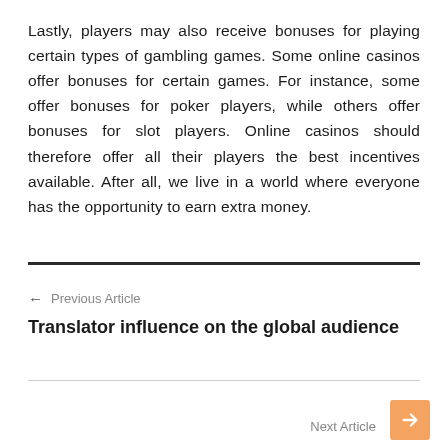Lastly, players may also receive bonuses for playing certain types of gambling games. Some online casinos offer bonuses for certain games. For instance, some offer bonuses for poker players, while others offer bonuses for slot players. Online casinos should therefore offer all their players the best incentives available. After all, we live in a world where everyone has the opportunity to earn extra money.
← Previous Article
Translator influence on the global audience
Next Article →